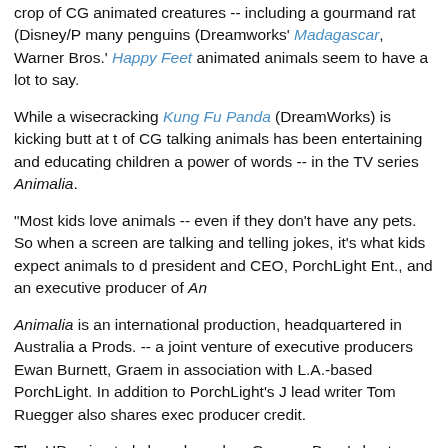crop of CG animated creatures -- including a gourmand rat (Disney/P many penguins (Dreamworks' Madagascar, Warner Bros.' Happy Feet animated animals seem to have a lot to say.
While a wisecracking Kung Fu Panda (DreamWorks) is kicking butt at t of CG talking animals has been entertaining and educating children a power of words -- in the TV series Animalia.
"Most kids love animals -- even if they don't have any pets. So when a screen are talking and telling jokes, it's what kids expect animals to d president and CEO, PorchLight Ent., and an executive producer of An
Animalia is an international production, headquartered in Australia a Prods. -- a joint venture of executive producers Ewan Burnett, Graem in association with L.A.-based PorchLight. In addition to PorchLight's J lead writer Tom Ruegger also shares exec producer credit.
The HD animated show, based on Graeme Base's best-selling alphabe illustrations of animals, made its debut in four major English-speaking 2007/spring 2008. Animalia premiered on Network TEN in Australia, Canada, and PBS KIDS GO! in the U.S.
Ewan Burnett, president of Burberry Productions in Australia, comme most ambitious children's television series ever produced in that cou